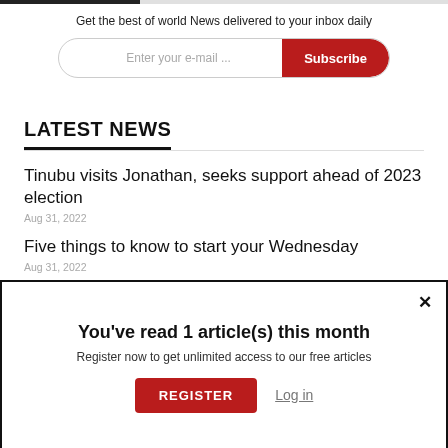Get the best of world News delivered to your inbox daily
Enter your e-mail ...
LATEST NEWS
Tinubu visits Jonathan, seeks support ahead of 2023 election
Aug 31, 2022
Five things to know to start your Wednesday
Aug 31, 2022
To curb oil theft, NNPC adopts Saudi Aramco's model...
Aug 31, 2022
You've read 1 article(s) this month
Register now to get unlimited access to our free articles
REGISTER
Log in